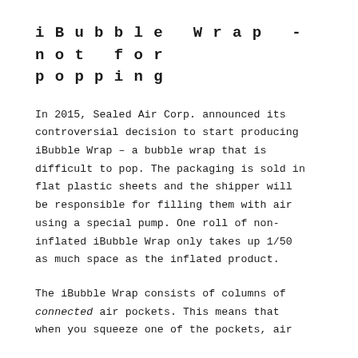iBubble Wrap - not for popping
In 2015, Sealed Air Corp. announced its controversial decision to start producing iBubble Wrap – a bubble wrap that is difficult to pop. The packaging is sold in flat plastic sheets and the shipper will be responsible for filling them with air using a special pump. One roll of non-inflated iBubble Wrap only takes up 1/50 as much space as the inflated product.
The iBubble Wrap consists of columns of connected air pockets. This means that when you squeeze one of the pockets, air